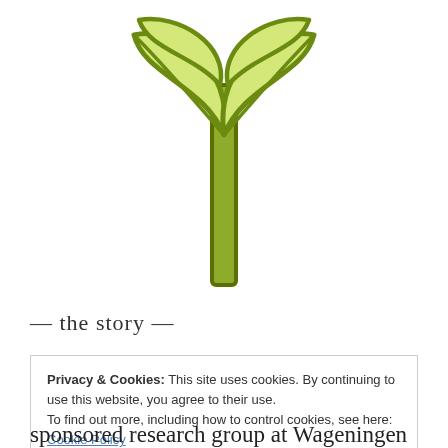[Figure (illustration): Green plant seedling icon with two leaves and a stem, rendered in olive/yellow-green colors with dark green outlines]
— the story —
Privacy & Cookies: This site uses cookies. By continuing to use this website, you agree to their use.
To find out more, including how to control cookies, see here:
Cookie Policy
Close and accept
sponsored research group at Wageningen